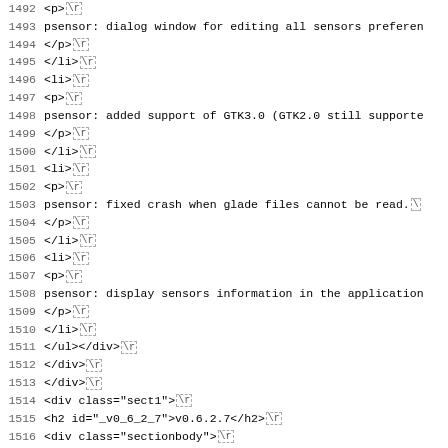1492  <p> \r
1493  psensor: dialog window for editing all sensors preferen
1494  </p> \r
1495  </li> \r
1496  <li> \r
1497  <p> \r
1498  psensor: added support of GTK3.0 (GTK2.0 still supporte
1499  </p> \r
1500  </li> \r
1501  <li> \r
1502  <p> \r
1503  psensor: fixed crash when glade files cannot be read. \
1504  </p> \r
1505  </li> \r
1506  <li> \r
1507  <p> \r
1508  psensor: display sensors information in the application
1509  </p> \r
1510  </li> \r
1511  </ul></div> \r
1512  </div> \r
1513  </div> \r
1514  <div class="sect1"> \r
1515  <h2 id="_v0_6_2_7">v0.6.2.7</h2> \r
1516  <div class="sectionbody"> \r
1517  <div class="ulist"><ul> \r
1518  <li> \r
1519  <p> \r
1520  psensor: src/glade/psensor-pref.glade, added button sep
1521  </p> \r
1522  </li> \r
1523  <li> \r